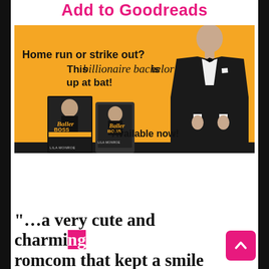Add to Goodreads
[Figure (illustration): Promotional banner for the book 'Baller Boss' by Lila Monroe on an orange background. Shows a man in a tuxedo, two book covers (print and ebook), and text reading: 'Home run or strike out? This billionaire bachelor is up at bat!' and 'Available now!']
“…a very cute and charmi… romcom that kept a smile o…